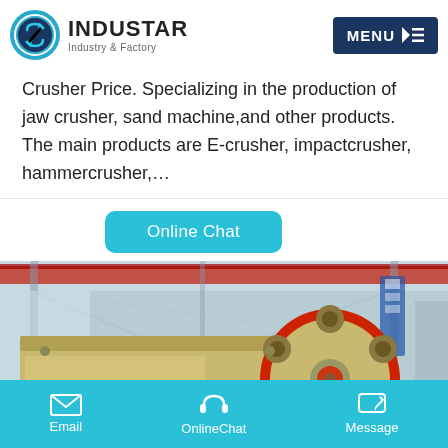[Figure (logo): Industar Industry & Factory logo with gear icon and MENU button]
Crusher Price. Specializing in the production of jaw crusher, sand machine, and other products. The main products are E-crusher, impactcrusher, hammercrusher,…
[Figure (other): Online Chat button (cyan rounded rectangle)]
[Figure (photo): Industrial factory interior showing a large jaw crusher machine with red flywheel, overhead crane rails, and factory structure]
[Figure (infographic): Bottom navigation bar with Email, OnlineChat, and Message icons on cyan background]